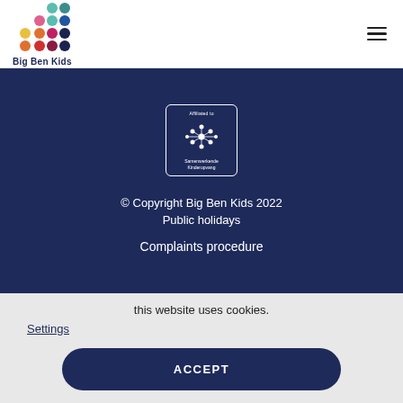[Figure (logo): Big Ben Kids logo with colorful dots arranged in a grid pattern above the text 'Big Ben Kids']
[Figure (logo): Affiliated to Samenwerkende Kinderopvang badge with white dots network graphic on dark blue background, inside a white border rounded rectangle]
© Copyright Big Ben Kids 2022
Public holidays
Complaints procedure
this website uses cookies.
Settings
ACCEPT